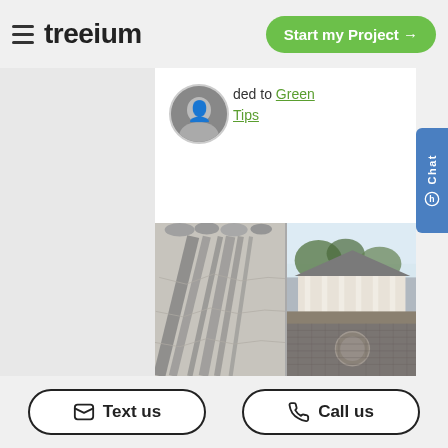treeium — Start my Project →
ded to Green Tips
[Figure (photo): Before and after comparison photos of a driveway/patio area: left shows tree shadows on stone pavers, right shows a circular brick paver driveway with a house in the background]
Text us   Call us